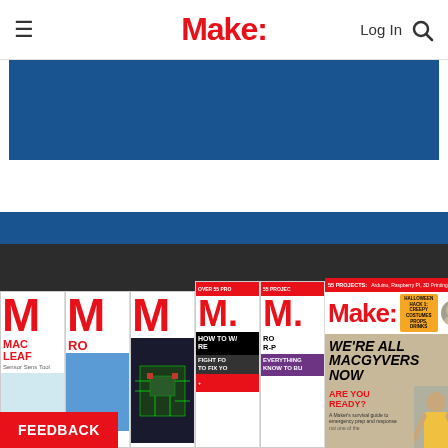Make: — Log In [search]
[Figure (screenshot): Make: magazine website screenshot showing navigation bar with hamburger menu, Make: logo in red, Log In and search icon on right]
[Figure (photo): Blue banner advertisement area at top of page]
[Figure (photo): Dark section with multiple Make: magazine covers displayed, including covers with text: OVER 55 PROJECTS, 55 PROJECTS, Arduino Raspberry PI 3D Printing, WE'RE ALL MACGYVERS NOW, ARE YOU READY?, MAC, RO, HOW TO W/RE, FIGHT FOR TO FIX YO, EVERYTHING KNOW TO BU]
FEEDBACK